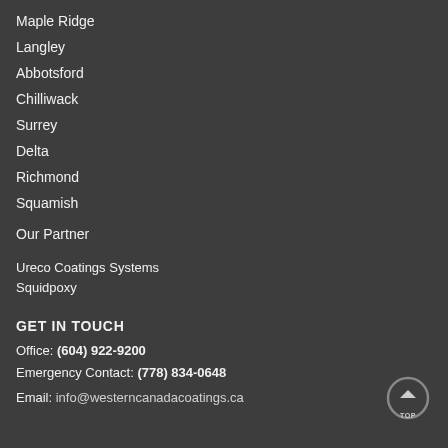Maple Ridge
Langley
Abbotsford
Chilliwack
Surrey
Delta
Richmond
Squamish
Our Partner
Ureco Coatings Systems
Squidpoxy
GET IN TOUCH
Office: (604) 922-9200
Emergency Contact: (778) 834-0648
Email: info@westerncanadacoatings.ca